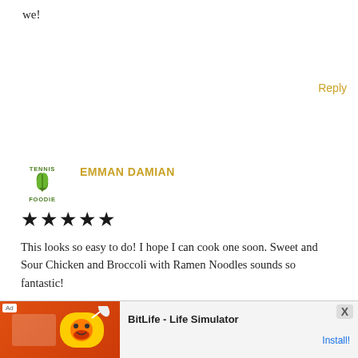we!
Reply
[Figure (logo): Tennis Foodie logo - green text with leaf/plant icon]
EMMAN DAMIAN
★★★★★
This looks so easy to do! I hope I can cook one soon. Sweet and Sour Chicken and Broccoli with Ramen Noodles sounds so fantastic!
Reply
Leave a Comment
[Figure (screenshot): Advertisement banner for BitLife - Life Simulator app with red/orange background showing game screenshot and Install! button]